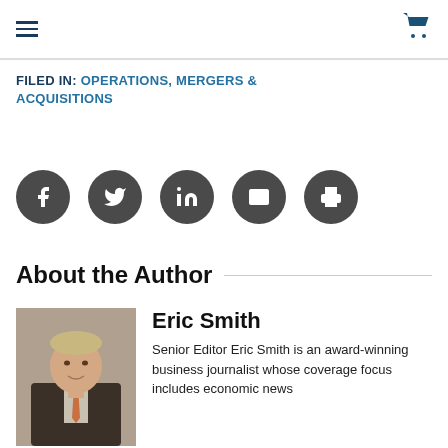Navigation header with hamburger menu and cart icon
FILED IN: OPERATIONS, MERGERS & ACQUISITIONS
[Figure (other): Row of five dark circular social sharing buttons: Facebook, Twitter, LinkedIn, Email, Print]
About the Author
[Figure (photo): Headshot photo of Eric Smith, a middle-aged man in a suit with a tie]
Eric Smith
Senior Editor Eric Smith is an award-winning business journalist whose coverage focus includes economic news